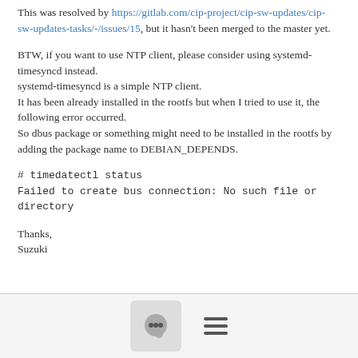This was resolved by https://gitlab.com/cip-project/cip-sw-updates/cip-sw-updates-tasks/-/issues/15, but it hasn't been merged to the master yet.
BTW, if you want to use NTP client, please consider using systemd-timesyncd instead.
systemd-timesyncd is a simple NTP client.
It has been already installed in the rootfs but when I tried to use it, the following error occurred.
So dbus package or something might need to be installed in the rootfs by adding the package name to DEBIAN_DEPENDS.
# timedatectl status
Failed to create bus connection: No such file or directory
Thanks,
Suzuki
[Figure (other): Footer bar with a chat/comment icon button and a hamburger menu icon]